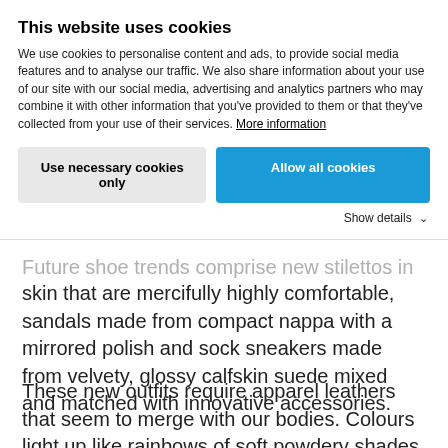This website uses cookies
We use cookies to personalise content and ads, to provide social media features and to analyse our traffic. We also share information about your use of our site with our social media, advertising and analytics partners who may combine it with other information that you've provided to them or that they've collected from your use of their services. More information
Use necessary cookies only
Allow all cookies
Show details
Future shoe trends comprise new stilettos in glossy kid skin that are mercifully highly comfortable, sandals made from compact nappa with a mirrored polish and sock sneakers made from velvety, glossy calfskin suede mixed and matched with innovative accessories.
These new outfits require apparel leathers that seem to merge with our bodies. Colours light up like rainbows of soft powdery shades ranging from quartz